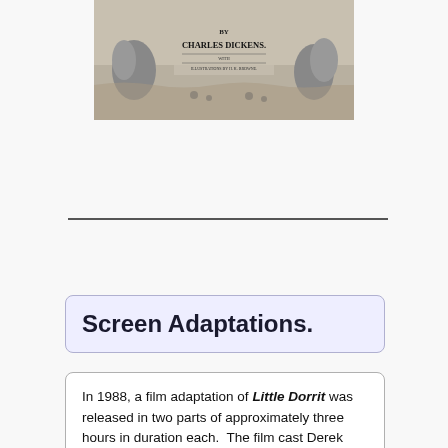[Figure (illustration): Vintage book cover illustration for a Charles Dickens novel showing 'by Charles Dickens' text and 'Illustrations by H. K. Browne', with decorative Victorian-era engraving artwork]
Screen Adaptations.
In 1988, a film adaptation of Little Dorrit was released in two parts of approximately three hours in duration each. The film cast Derek Jacobi as Arthur Clennam, Sarah Pickering as Amy Dorrit and Alec Guinness as William Dorrit. In 2008, Little Dorrit was...